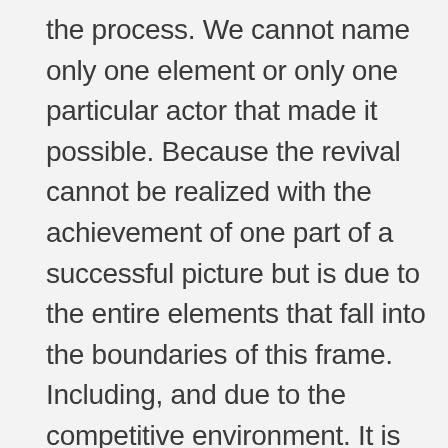the process. We cannot name only one element or only one particular actor that made it possible. Because the revival cannot be realized with the achievement of one part of a successful picture but is due to the entire elements that fall into the boundaries of this frame. Including, and due to the competitive environment. It is the film industry process that can give grounds for the emergence of things that are due to this growth in the form of genre diversity, technology incorporation, filmmaking know-how accumulation, creative experiments, the formation of the face of modern Ukrainian cinema.